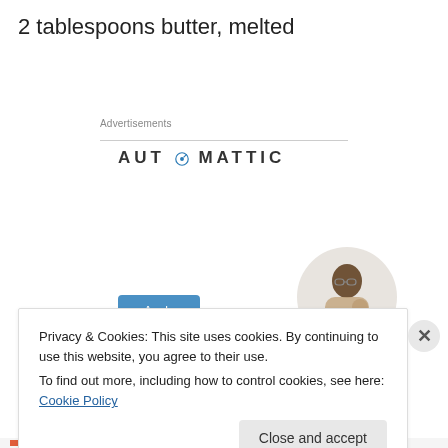2 tablespoons butter, melted
Advertisements
[Figure (logo): Automattic logo with compass icon replacing the letter O]
[Figure (infographic): Ad reading 'Build a better web and a better world.' with Apply button and photo of man thinking]
Privacy & Cookies: This site uses cookies. By continuing to use this website, you agree to their use.
To find out more, including how to control cookies, see here: Cookie Policy